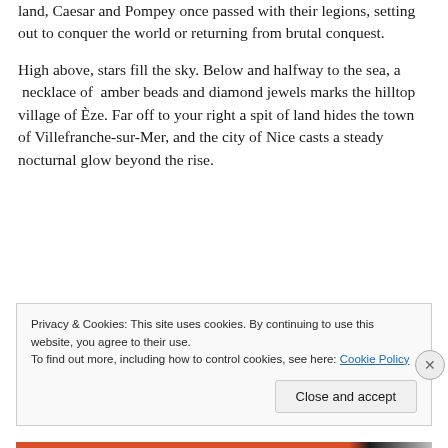land, Caesar and Pompey once passed with their legions, setting out to conquer the world or returning from brutal conquest.
High above, stars fill the sky. Below and halfway to the sea, a necklace of amber beads and diamond jewels marks the hilltop village of Èze. Far off to your right a spit of land hides the town of Villefranche-sur-Mer, and the city of Nice casts a steady nocturnal glow beyond the rise.
Privacy & Cookies: This site uses cookies. By continuing to use this website, you agree to their use. To find out more, including how to control cookies, see here: Cookie Policy
Close and accept